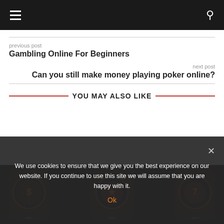Navigation bar with hamburger menu and search icon
previous post
Gambling Online For Beginners
next post
Can you still make money playing poker online?
YOU MAY ALSO LIKE
[Figure (photo): Slot machines with spinning reels in a dark casino setting]
We use cookies to ensure that we give you the best experience on our website. If you continue to use this site we will assume that you are happy with it.
Ok